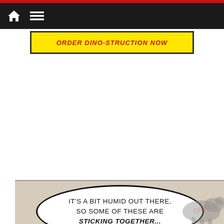Navigation bar with home and menu icons
[Figure (illustration): Yellow banner with red italic bold text partially visible, reading 'ORDER DINO-STRUCTION' or similar]
[Figure (illustration): Comic panel with beige/tan background. A speech bubble reads: IT'S A BIT HUMID OUT THERE, SO SOME OF THESE ARE STICKING TOGETHER... with a partially visible animal silhouette at the bottom right.]